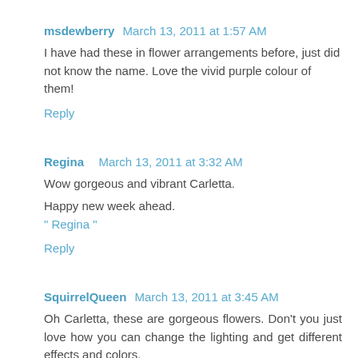msdewberry  March 13, 2011 at 1:57 AM
I have had these in flower arrangements before, just did not know the name. Love the vivid purple colour of them!
Reply
Regina   March 13, 2011 at 3:32 AM
Wow gorgeous and vibrant Carletta.
Happy new week ahead.
" Regina "
Reply
SquirrelQueen  March 13, 2011 at 3:45 AM
Oh Carletta, these are gorgeous flowers. Don't you just love how you can change the lighting and get different effects and colors.